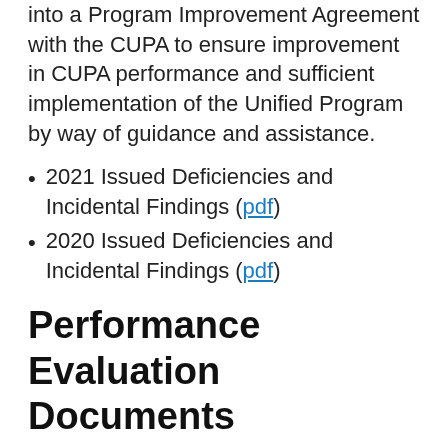into a Program Improvement Agreement with the CUPA to ensure improvement in CUPA performance and sufficient implementation of the Unified Program by way of guidance and assistance.
2021 Issued Deficiencies and Incidental Findings (pdf)
2020 Issued Deficiencies and Incidental Findings (pdf)
Performance Evaluation Documents
The Final Summary of Findings Report for CUPA Performance Evaluations conducted prior to 2020